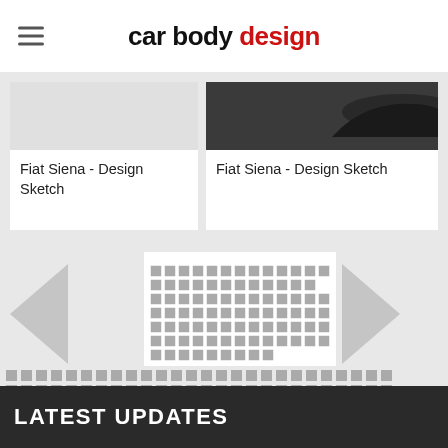car body design
[Figure (screenshot): Two card thumbnails for 'Fiat Siena - Design Sketch' items. Left card shows white background with text. Right card shows dark car silhouette image above text.]
Fiat Siena - Design Sketch
Fiat Siena - Design Sketch
[Figure (infographic): Pagination grid with left arrow, right arrow, and a grid of gray squares. One red square marks current page position.]
LATEST UPDATES